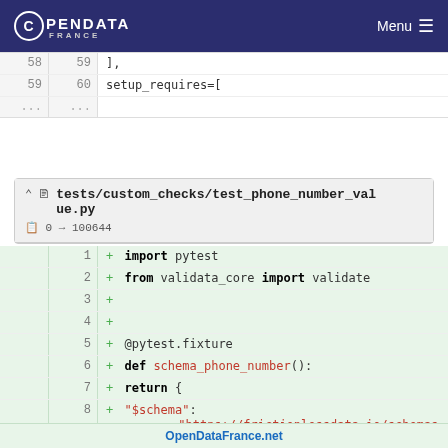OPENDATA FRANCE — Menu
58 59  ],
59 60  setup_requires=[
... ...
tests/custom_checks/test_phone_number_value.py  0 → 100644
+ import pytest
+ from validata_core import validate
+
+
+ @pytest.fixture
+ def schema_phone_number():
+     return {
+         "$schema": "https://frictionlessdata.io/schemas/table-schema.json",
+         "fields": [
+             {
OpenDataFrance.net